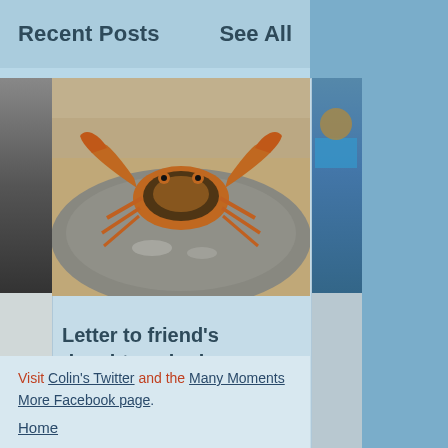Recent Posts
See All
[Figure (photo): Close-up photo of a crab sitting on a rock]
Letter to friend's daughter who has been...
Visit Colin's Twitter and the Many Moments More Facebook page.
Home